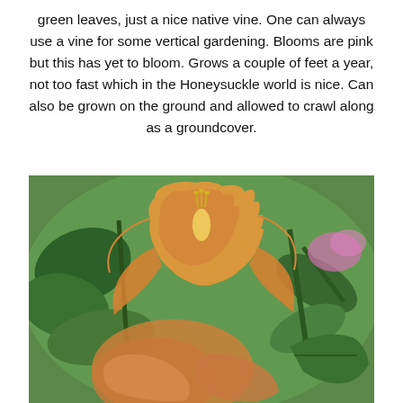green leaves, just a nice native vine. One can always use a vine for some vertical gardening. Blooms are pink but this has yet to bloom. Grows a couple of feet a year, not too fast which in the Honeysuckle world is nice. Can also be grown on the ground and allowed to crawl along as a groundcover.
[Figure (photo): Close-up photograph of orange trumpet-shaped flowers (likely Campsis or similar vine flower) with green leaves in the background and a blurred pink flower visible in the upper right corner.]